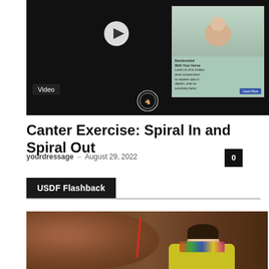[Figure (screenshot): Video thumbnail showing a dark video player with a play button overlay and an advertisement for a horse-related product in the upper right. A 'Video' label badge is visible in the lower left of the player.]
Canter Exercise: Spiral In and Spiral Out
yourdressage – August 29, 2022
USDF Flashback
[Figure (photo): A smiling woman in a yellow jacket stands next to a brown horse in a stable. She is touching the horse's side with her hand.]